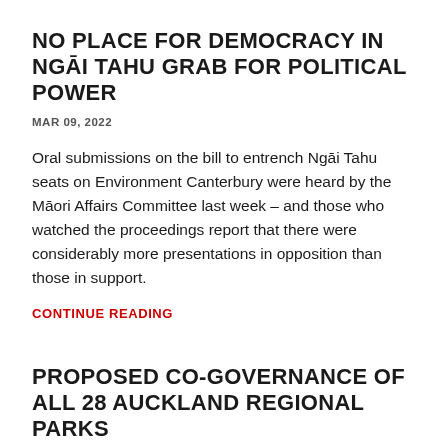NO PLACE FOR DEMOCRACY IN NGĀI TAHU GRAB FOR POLITICAL POWER
MAR 09, 2022
Oral submissions on the bill to entrench Ngāi Tahu seats on Environment Canterbury were heard by the Māori Affairs Committee last week – and those who watched the proceedings report that there were considerably more presentations in opposition than those in support.
CONTINUE READING
PROPOSED CO-GOVERNANCE OF ALL 28 AUCKLAND REGIONAL PARKS